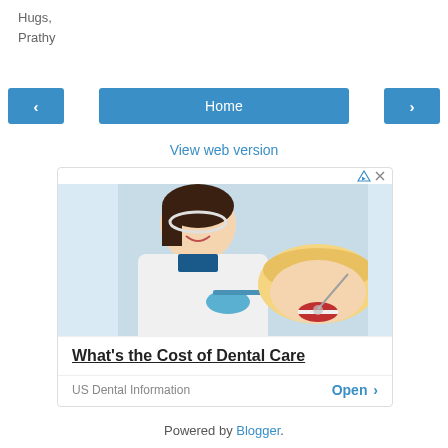Hugs,
Prathy
[Figure (screenshot): Navigation row with left arrow button, Home button, and right arrow button in blue]
View web version
[Figure (photo): Advertisement showing a dental professional treating a patient. Ad title: What's the Cost of Dental Care. Source: US Dental Information. CTA: Open >]
Powered by Blogger.